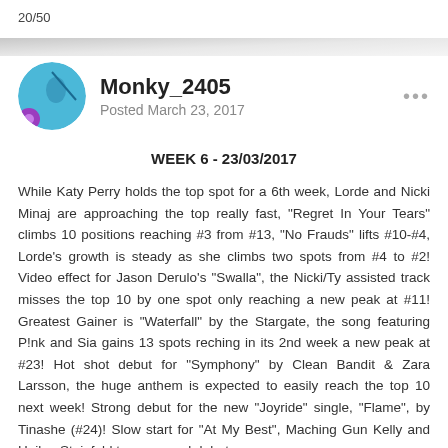20/50
Monky_2405
Posted March 23, 2017
WEEK 6 - 23/03/2017
While Katy Perry holds the top spot for a 6th week, Lorde and Nicki Minaj are approaching the top really fast, "Regret In Your Tears" climbs 10 positions reaching #3 from #13, "No Frauds" lifts #10-#4, Lorde's growth is steady as she climbs two spots from #4 to #2! Video effect for Jason Derulo's "Swalla", the Nicki/Ty assisted track misses the top 10 by one spot only reaching a new peak at #11! Greatest Gainer is "Waterfall" by the Stargate, the song featuring P!nk and Sia gains 13 spots reching in its 2nd week a new peak at #23! Hot shot debut for "Symphony" by Clean Bandit & Zara Larsson, the huge anthem is expected to easily reach the top 10 next week! Strong debut for the new "Joyride" single, "Flame", by Tinashe (#24)! Slow start for "At My Best", Maching Gun Kelly and Hailee Steinfeld team up and debut